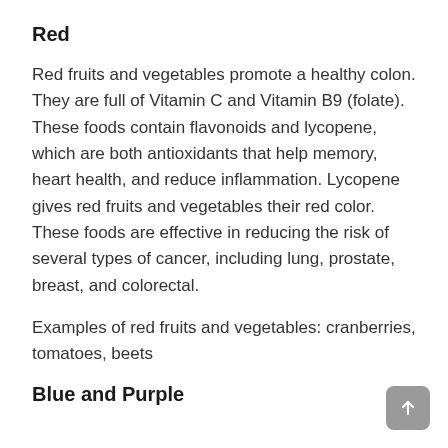Red
Red fruits and vegetables promote a healthy colon. They are full of Vitamin C and Vitamin B9 (folate). These foods contain flavonoids and lycopene, which are both antioxidants that help memory, heart health, and reduce inflammation. Lycopene gives red fruits and vegetables their red color. These foods are effective in reducing the risk of several types of cancer, including lung, prostate, breast, and colorectal.
Examples of red fruits and vegetables: cranberries, tomatoes, beets
Blue and Purple